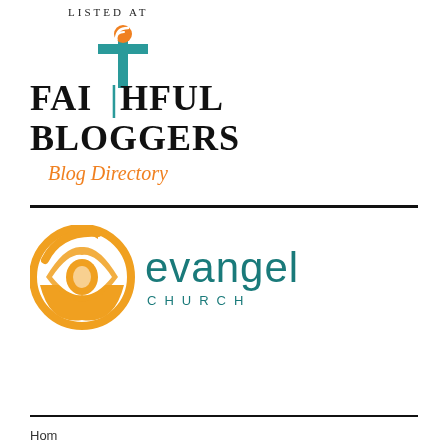[Figure (logo): Faithful Bloggers Blog Directory logo with cross/RSS icon, teal and orange colors, serif text]
[Figure (logo): Evangel Church logo with orange circular arrow/eye icon and teal text reading 'evangel CHURCH']
Hom